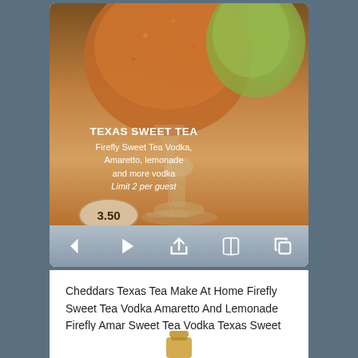[Figure (photo): Close-up photo of a Texas Sweet Tea cocktail in a decorative glass goblet, with a large ice ball. Text overlay reads: TEXAS SWEET TEA, Firefly Sweet Tea Vodka, Amaretto, lemonade and more vodka, Limit 2 per guest. Price badge showing 3.50. Navigation bar with back, play, share, book, and copy icons below.]
Cheddars Texas Tea Make At Home Firefly Sweet Tea Vodka Amaretto And Lemonade Firefly Amar Sweet Tea Vodka Texas Sweet Tea Recipe Sweet Tea Vodka Drinks
[Figure (photo): Bottom portion of a bottle visible at the bottom of the page.]